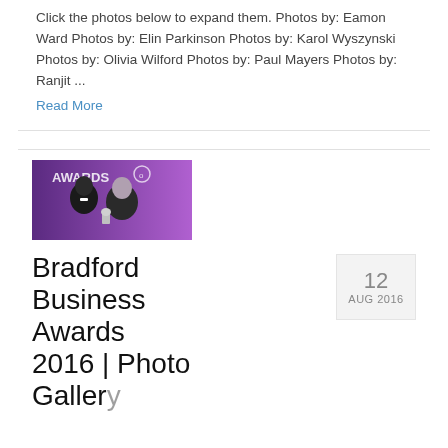Click the photos below to expand them. Photos by: Eamon Ward Photos by: Elin Parkinson Photos by: Karol Wyszynski Photos by: Olivia Wilford Photos by: Paul Mayers Photos by: Ranjit ...
Read More
[Figure (photo): Two people at an awards ceremony in front of a purple backdrop with 'AWARDS' text and a logo. A man in a tuxedo and a woman in a black dress holding a trophy.]
Bradford Business Awards 2016 | Photo Gallery
12 AUG 2016